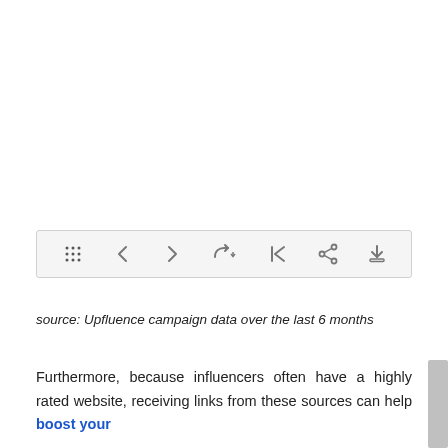[Figure (screenshot): A toolbar/navigation bar with icons: a grid/settings icon, left arrow, right arrow, redo arrow with dropdown, a back-to-start arrow, a share icon, and a download icon. Light gray background.]
source: Upfluence campaign data over the last 6 months
Furthermore, because influencers often have a highly rated website, receiving links from these sources can help boost your